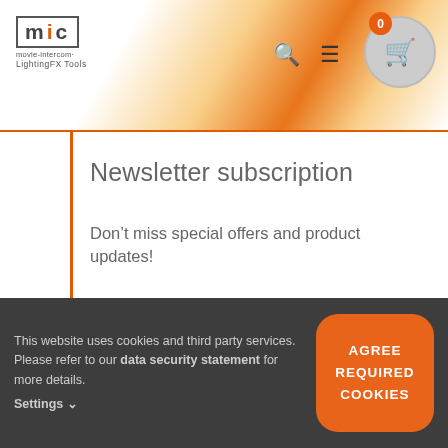[Figure (logo): mic movie-intercom LightingFX Tools logo in header with orange flame background]
Newsletter subscription
Don't miss special offers and product updates!
E-Mail Address *
Name
This website uses cookies and third party services. Please refer to our data security statement for more details. Settings